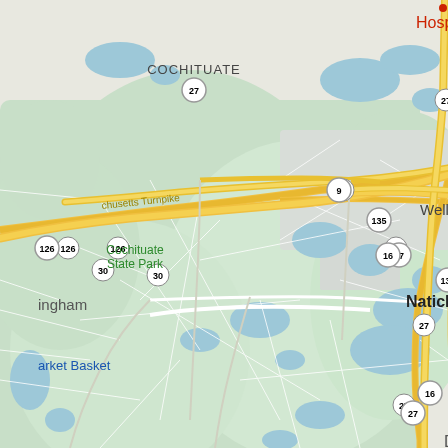[Figure (map): Google Maps view centered on Natick, Massachusetts showing surrounding areas including Cochituate, Cochituate State Park, Wellesley, Sherborn, and Framingham. Route numbers 27, 9, 135, 126, 30, 16 are visible. The Massachusetts Turnpike runs through the upper left. Bodies of water (ponds/lakes) shown in blue. Green areas indicate parks and open space. Yellow lines show major roads. A red label partially visible in upper right reads 'Hospit...' (Hospital).]